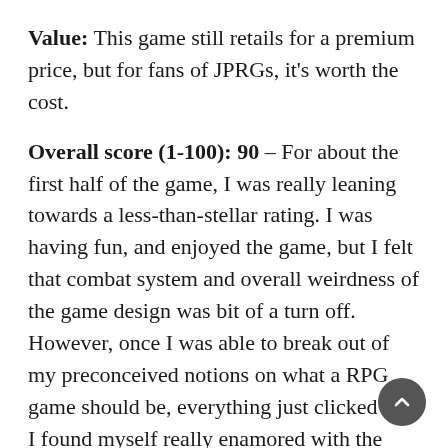Value: This game still retails for a premium price, but for fans of JPRGs, it's worth the cost.
Overall score (1-100): 90 – For about the first half of the game, I was really leaning towards a less-than-stellar rating. I was having fun, and enjoyed the game, but I felt that combat system and overall weirdness of the game design was bit of a turn off. However, once I was able to break out of my preconceived notions on what a RPG game should be, everything just clicked and I found myself really enamored with the title. I found myself loving everything about the game. The characters, the visuals, the storyline and even the way the game played. The Last Story is a fantastic title.